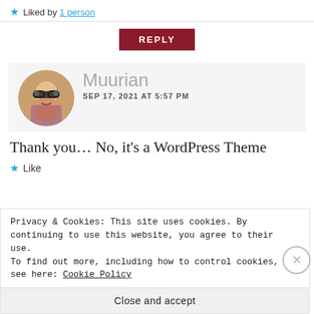★ Liked by 1 person
REPLY
[Figure (photo): Circular avatar photo of Muurian, a person wearing glasses, smiling, with artistic filter applied]
Muurian
SEP 17, 2021 AT 5:57 PM
Thank you… No, it's a WordPress Theme
★ Like
Privacy & Cookies: This site uses cookies. By continuing to use this website, you agree to their use.
To find out more, including how to control cookies, see here: Cookie Policy
Close and accept